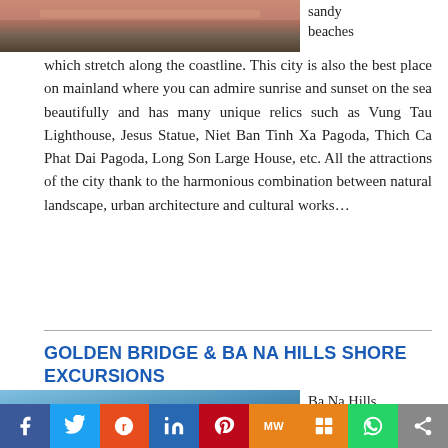[Figure (photo): Partial photo of a coastal city scene with warm tones, cut off at top of page]
sandy beaches
which stretch along the coastline. This city is also the best place on mainland where you can admire sunrise and sunset on the sea beautifully and has many unique relics such as Vung Tau Lighthouse, Jesus Statue, Niet Ban Tinh Xa Pagoda, Thich Ca Phat Dai Pagoda, Long Son Large House, etc. All the attractions of the city thank to the harmonious combination between natural landscape, urban architecture and cultural works…
GOLDEN BRIDGE & BA NA HILLS SHORE EXCURSIONS
[Figure (photo): Photo of Ba Na Hills area, partial view at bottom left]
Ba Na Hills is one of the newest and
Social sharing bar: Facebook, Twitter, Reddit, LinkedIn, Pinterest, MeWe, Mix, WhatsApp, Share